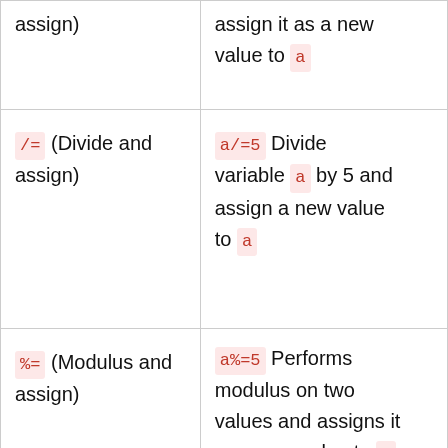| Operator | Example / Description |
| --- | --- |
| assign) | assign it as a new value to a |
| /= (Divide and assign) | a/=5 Divide variable a by 5 and assign a new value to a |
| %= (Modulus and assign) | a%=5 Performs modulus on two values and assigns it as a new value to a |
| **= (Exponentiation | a**=5 Multiply a five |